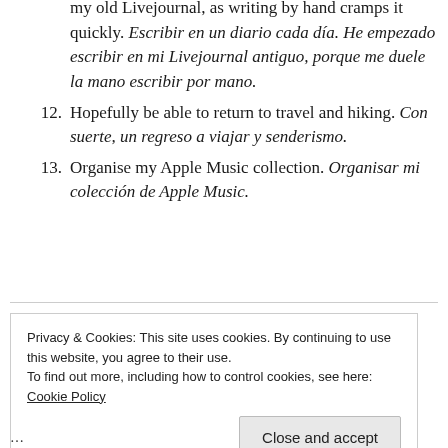my old Livejournal, as writing by hand cramps it quickly. Escribir en un diario cada día. He empezado escribir en mi Livejournal antiguo, porque me duele la mano escribir por mano.
12. Hopefully be able to return to travel and hiking. Con suerte, un regreso a viajar y senderismo.
13. Organise my Apple Music collection. Organisar mi colección de Apple Music.
Privacy & Cookies: This site uses cookies. By continuing to use this website, you agree to their use. To find out more, including how to control cookies, see here: Cookie Policy
…